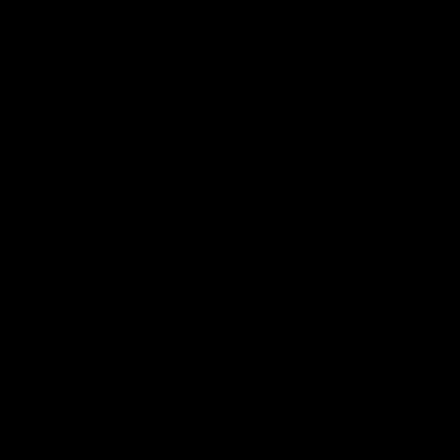[Figure (photo): Completely black page or image with no visible content]